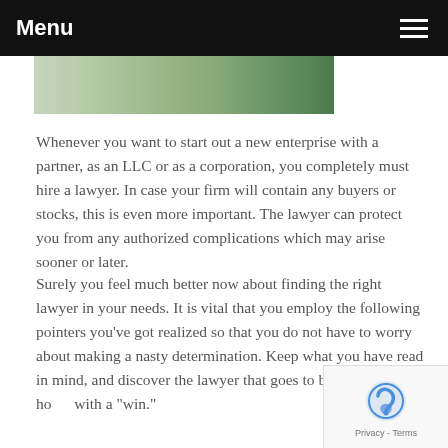Menu
[Figure (photo): Partial outdoor photo strip showing green foliage/trees]
Whenever you want to start out a new enterprise with a partner, as an LLC or as a corporation, you completely must hire a lawyer. In case your firm will contain any buyers or stocks, this is even more important. The lawyer can protect you from any authorized complications which may arise sooner or later.
Surely you feel much better now about finding the right lawyer in your needs. It is vital that you employ the following pointers you've got realized so that you do not have to worry about making a nasty determination. Keep what you have read in mind, and discover the lawyer that goes to bring you again home with a "win."